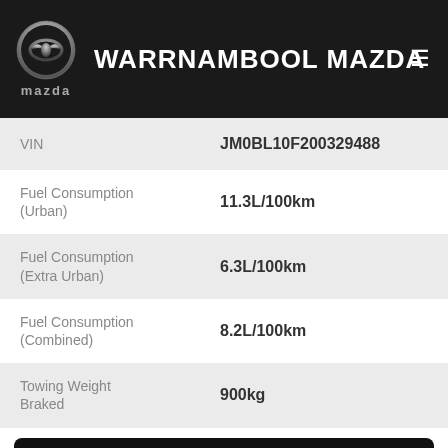WARRNAMBOOL MAZDA
| Attribute | Value |
| --- | --- |
| VIN | JM0BL10F200329488 |
| Fuel Consumption (Urban) | 11.3L/100km |
| Fuel Consumption (Extra Urban) | 6.3L/100km |
| Fuel Consumption (Combined) | 8.2L/100km |
| Towing Weight Braked | 900kg |
CONTACT US
FINANCE THIS VEHICLE